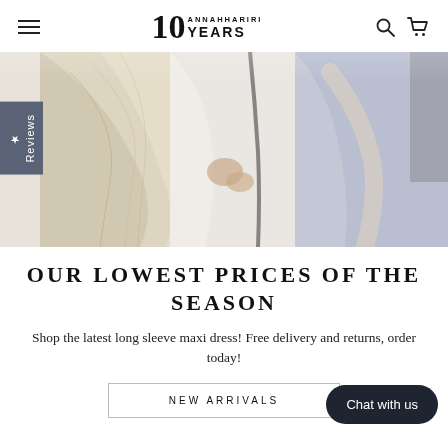10 ANNAHHARIRI YEARS — navigation header with hamburger menu, logo, search and cart icons
[Figure (photo): Two women in a fashion boutique. One wears a white blouse and holds a patterned fabric with gold/cream tones. The other wears a lavender/purple outfit with a beige scarf. A vertical 'Reviews' tab is visible on the left side.]
OUR LOWEST PRICES OF THE SEASON
Shop the latest long sleeve maxi dress! Free delivery and returns, order today!
NEW ARRIVALS
Chat with us